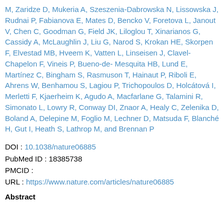M, Zaridze D, Mukeria A, Szeszenia-Dabrowska N, Lissowska J, Rudnai P, Fabianova E, Mates D, Bencko V, Foretova L, Janout V, Chen C, Goodman G, Field JK, Liloglou T, Xinarianos G, Cassidy A, McLaughlin J, Liu G, Narod S, Krokan HE, Skorpen F, Elvestad MB, Hveem K, Vatten L, Linseisen J, Clavel-Chapelon F, Vineis P, Bueno-de-Mesquita HB, Lund E, Martínez C, Bingham S, Rasmuson T, Hainaut P, Riboli E, Ahrens W, Benhamou S, Lagiou P, Trichopoulos D, Holcátová I, Merletti F, Kjaerheim K, Agudo A, Macfarlane G, Talamini R, Simonato L, Lowry R, Conway DI, Znaor A, Healy C, Zelenika D, Boland A, Delepine M, Foglio M, Lechner D, Matsuda F, Blanché H, Gut I, Heath S, Lathrop M, and Brennan P
DOI : 10.1038/nature06885
PubMed ID : 18385738
PMCID :
URL : https://www.nature.com/articles/nature06885
Abstract